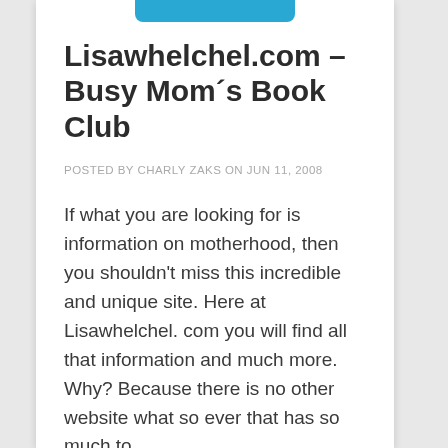Lisawhelchel.com – Busy Mom´s Book Club
POSTED BY CHARLY ZAKS ON JUN 11, 2008
If what you are looking for is information on motherhood, then you shouldn't miss this incredible and unique site. Here at Lisawhelchel. com you will find all that information and much more. Why? Because there is no other website what so ever that has so much to